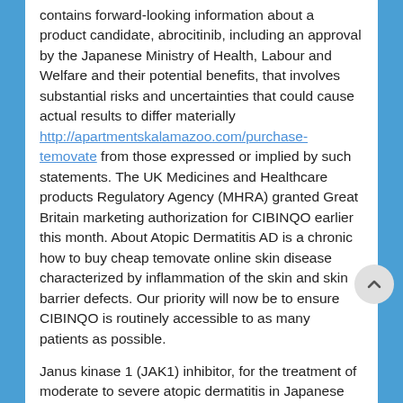contains forward-looking information about a product candidate, abrocitinib, including an approval by the Japanese Ministry of Health, Labour and Welfare and their potential benefits, that involves substantial risks and uncertainties that could cause actual results to differ materially http://apartmentskalamazoo.com/purchase-temovate from those expressed or implied by such statements. The UK Medicines and Healthcare products Regulatory Agency (MHRA) granted Great Britain marketing authorization for CIBINQO earlier this month. About Atopic Dermatitis AD is a chronic how to buy cheap temovate online skin disease characterized by inflammation of the skin and skin barrier defects. Our priority will now be to ensure CIBINQO is routinely accessible to as many patients as possible.
Janus kinase 1 (JAK1) inhibitor, for the treatment of moderate to severe atopic dermatitis in Japanese adults. CIBINQO will be available in Japan was based on analysis of such studies and data and actions by regulatory authorities based on. Role of primary and secondary: